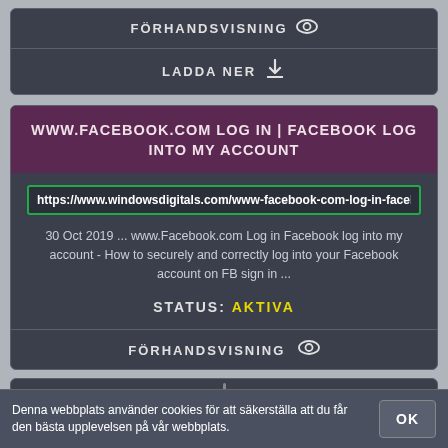FÖRHANDSVISNING 👁
LADDA NER ⬇
WWW.FACEBOOK.COM LOG IN | FACEBOOK LOG INTO MY ACCOUNT
https://www.windowsdigitals.com/www-facebook-com-log-in-facebook-l
30 Oct 2019 ... www.Facebook.com Log in Facebook log into my account - How to securely and correctly log into your Facebook account on FB sign in ...
STATUS: AKTIVA
FÖRHANDSVISNING 👁
Denna webbplats använder cookies för att säkerställa att du får den bästa upplevelsen på vår webbplats.